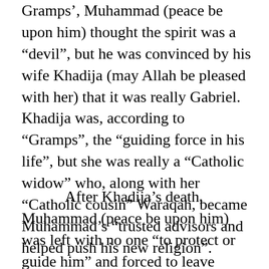Gramps’, Muhammad (peace be upon him) thought the spirit was a “devil”, but he was convinced by his wife Khadija (may Allah be pleased with her) that it was really Gabriel. Khadija was, according to “Gramps”, the “guiding force in his life”, but she was really a “Catholic widow” who, along with her “Catholic cousin” Waraqah, became Muhammad’s “trusted advisors and helped push his new religion”.
After Khadija’s death, Muhammad (peace be upon him) was left with no one “to protect or guide him” and forced to leave Mecca for Medina.  Soon after,